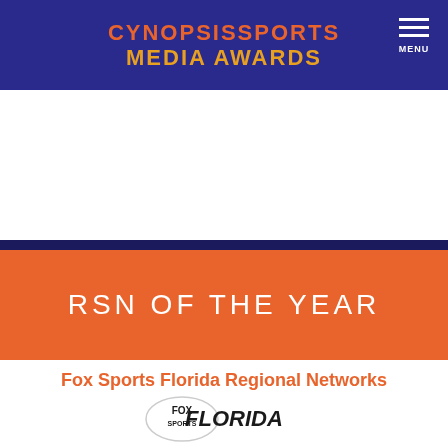CYNOPSISSPORTS MEDIA AWARDS
RSN OF THE YEAR
Fox Sports Florida Regional Networks
[Figure (logo): Fox Sports Florida logo — oval FOX SPORTS badge with text FLORIDA in bold italic]